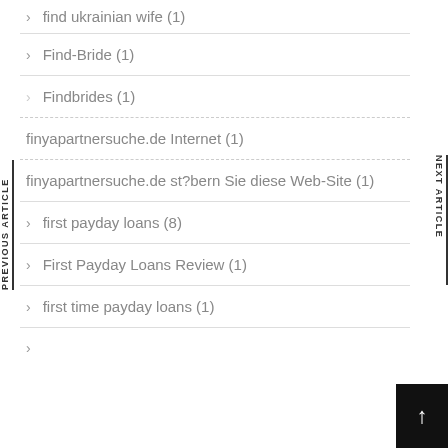find ukrainian wife (1)
Find-Bride (1)
Findbrides (1)
finyapartnersuche.de Internet (1)
finyapartnersuche.de st?bern Sie diese Web-Site (1)
first payday loans (8)
First Payday Loans Review (1)
first time payday loans (1)